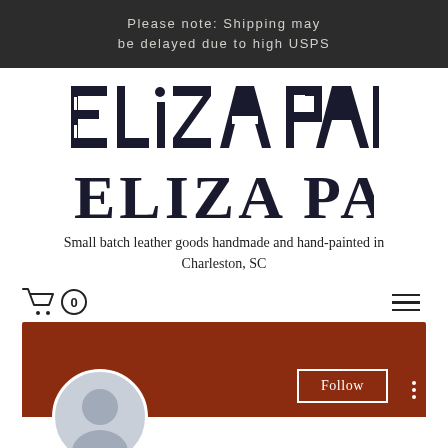Please note: Shipping may be delayed due to high USPS
[Figure (logo): Eliza Parti decorative logo with stylized letters]
Small batch leather goods handmade and hand-painted in Charleston, SC
[Figure (screenshot): Navigation bar with shopping cart showing 0 items and hamburger menu icon]
[Figure (screenshot): Profile card with terracotta/rust colored banner, Follow button, three-dot menu, and circular avatar placeholder]
Astralean clenbuterol weight ...
0 Followers • 0 Following